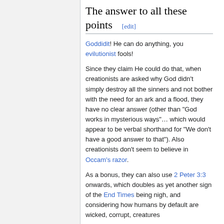The answer to all these points [edit]
Goddidit! He can do anything, you evilutionist fools!
Since they claim He could do that, when creationists are asked why God didn't simply destroy all the sinners and not bother with the need for an ark and a flood, they have no clear answer (other than "God works in mysterious ways"… which would appear to be verbal shorthand for "We don't have a good answer to that"). Also creationists don't seem to believe in Occam's razor.
As a bonus, they can also use 2 Peter 3:3 onwards, which doubles as yet another sign of the End Times being nigh, and considering how humans by default are wicked, corrupt, creatures